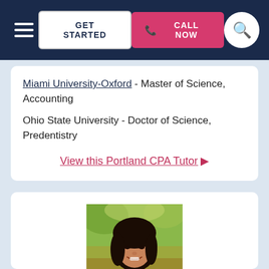GET STARTED | CALL NOW
Miami University-Oxford - Master of Science, Accounting
Ohio State University - Doctor of Science, Predentistry
View this Portland CPA Tutor ▶
[Figure (photo): Professional headshot of a smiling Asian woman with dark hair, wearing dark clothing, against a blurred outdoor background]